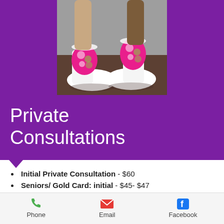[Figure (photo): Photo of baby/toddler feet wearing colorful pink and green patterned shoes on a dark wood floor]
Private Consultations
Initial Private Consultation - $60
Seniors/ Gold Card: initial - $45- $47
Follow-up : Private Half Consultation - $40- $45
Follow-up: Private Full Consultation $45-47
Follow-up: Private Full (extended
Phone   Email   Facebook